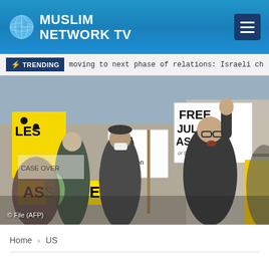MUSLIM NETWORK TV
TRENDING  moving to next phase of relations: Israeli chargé d'affaires |
[Figure (photo): Protest rally with demonstrators holding signs including 'FREE JULIAN ASSANGE', 'USA bribed Thordarson to LIE!', 'STOP THIS POLITICAL TRIAL', and 'ASSANGE'. A man in the center raises his fist. Credit: © File (AFP)]
Home › US